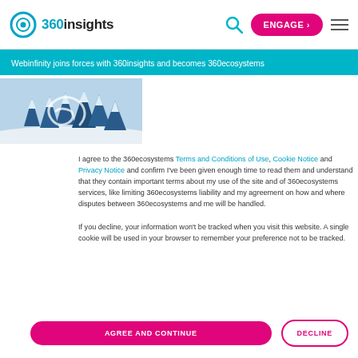360insights — ENGAGE
Webinfinity joins forces with 360insights and becomes 360ecosystems
[Figure (photo): Snowy winter landscape with pine trees and a spiral overlay]
I agree to the 360ecosystems Terms and Conditions of Use, Cookie Notice and Privacy Notice and confirm I've been given enough time to read them and understand that they contain important terms about my use of the site and of 360ecosystems services, like limiting 360ecosystems liability and my agreement on how and where disputes between 360ecosystems and me will be handled.

If you decline, your information won't be tracked when you visit this website. A single cookie will be used in your browser to remember your preference not to be tracked.
AGREE AND CONTINUE
DECLINE